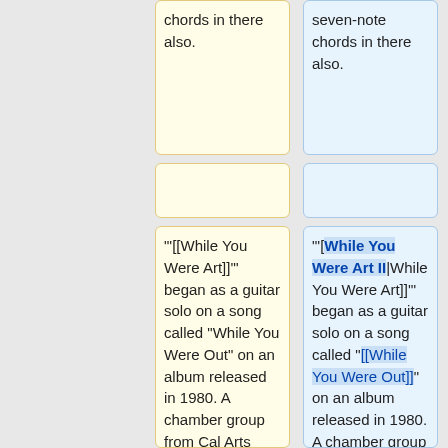chords in there also.
seven-note chords in there also.
"'[[While You Were Art]]'" began as a guitar solo on a song called "While You Were Out" on an album released in 1980. A chamber group from Cal Arts commissioned me to write an arrangement of that guitar solo for their ensemble – cello, clarinet,
"'[[While You Were Art II|While You Were Art]]'" began as a guitar solo on a song called "[[While You Were Out]]" on an album released in 1980. A chamber group from "Cal Arts" commissioned me to write an arrangement of that guitar solo for their ensemble –